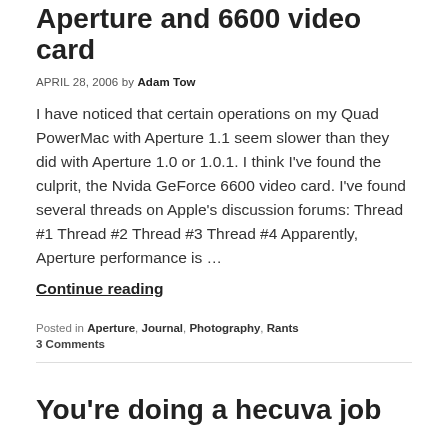Aperture and 6600 video card
APRIL 28, 2006 by Adam Tow
I have noticed that certain operations on my Quad PowerMac with Aperture 1.1 seem slower than they did with Aperture 1.0 or 1.0.1. I think I've found the culprit, the Nvida GeForce 6600 video card. I've found several threads on Apple's discussion forums: Thread #1 Thread #2 Thread #3 Thread #4 Apparently, Aperture performance is …
Continue reading
Posted in Aperture, Journal, Photography, Rants
3 Comments
You're doing a hecuva job